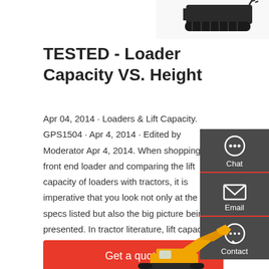[Figure (photo): Top portion of a black tracked machine/crawler visible at top of page]
TESTED - Loader Capacity VS. Height
Apr 04, 2014 · Loaders & Lift Capacity. GPS1504 · Apr 4, 2014 · Edited by Moderator Apr 4, 2014. When shopping for a front end loader and comparing the lift capacity of loaders with tractors, it is imperative that you look not only at the specs listed but also the big picture being presented. In tractor literature, lift capacity is not always crystal clear.
[Figure (infographic): Sidebar with Chat, Email, and Contact icons on dark grey background]
[Figure (photo): Yellow construction excavator/loader machine arm visible at bottom of page]
Get a quote